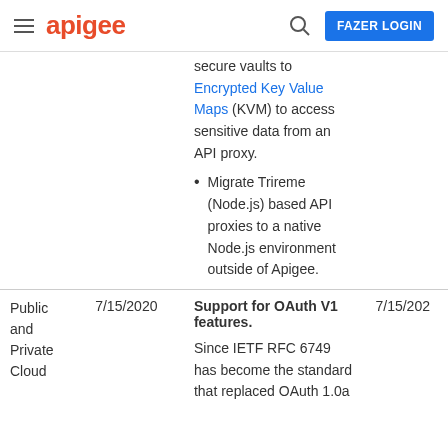apigee | FAZER LOGIN
secure vaults to Encrypted Key Value Maps (KVM) to access sensitive data from an API proxy.
Migrate Trireme (Node.js) based API proxies to a native Node.js environment outside of Apigee.
|  | 7/15/2020 | Support for OAuth V1 features. | 7/15/202 |
| --- | --- | --- | --- |
| Public and Private Cloud | 7/15/2020 | Support for OAuth V1 features.

Since IETF RFC 6749 has become the standard that replaced OAuth 1.0a | 7/15/202 |